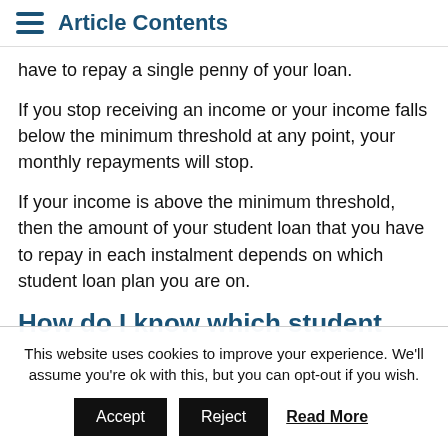Article Contents
have to repay a single penny of your loan.
If you stop receiving an income or your income falls below the minimum threshold at any point, your monthly repayments will stop.
If your income is above the minimum threshold, then the amount of your student loan that you have to repay in each instalment depends on which student loan plan you are on.
How do I know which student
This website uses cookies to improve your experience. We'll assume you're ok with this, but you can opt-out if you wish.